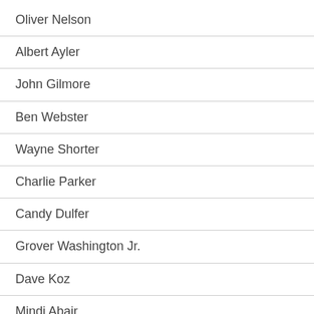Oliver Nelson
Albert Ayler
John Gilmore
Ben Webster
Wayne Shorter
Charlie Parker
Candy Dulfer
Grover Washington Jr.
Dave Koz
Mindi Abair